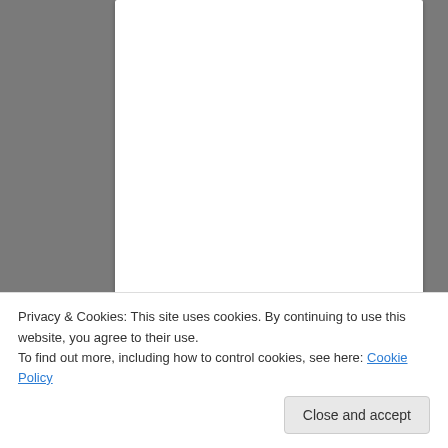Instantly identify flowers, trees, weeds, etc.
Install app
Share this:
Twitter
Facebook
Tumblr
Pinterest
WhatsApp
Email
Privacy & Cookies: This site uses cookies. By continuing to use this website, you agree to their use.
To find out more, including how to control cookies, see here: Cookie Policy
Close and accept